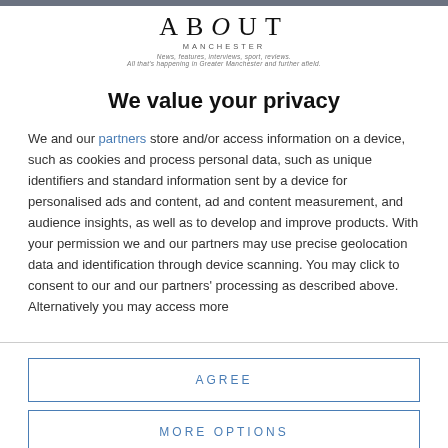[Figure (logo): About Manchester logo with tagline: News, features, interviews, sport, reviews. All that's happening in Greater Manchester and further afield.]
We value your privacy
We and our partners store and/or access information on a device, such as cookies and process personal data, such as unique identifiers and standard information sent by a device for personalised ads and content, ad and content measurement, and audience insights, as well as to develop and improve products. With your permission we and our partners may use precise geolocation data and identification through device scanning. You may click to consent to our and our partners' processing as described above. Alternatively you may access more
AGREE
MORE OPTIONS
Always Put a Crayon in Your Wallet when Travelling,